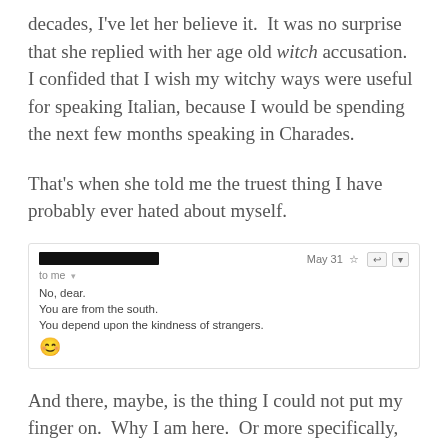decades, I've let her believe it.  It was no surprise that she replied with her age old witch accusation.
I confided that I wish my witchy ways were useful for speaking Italian, because I would be spending the next few months speaking in Charades.
That's when she told me the truest thing I have probably ever hated about myself.
[Figure (screenshot): Email screenshot showing sender (redacted black bar), date 'May 31', recipient 'to me', and message text: 'No, dear. You are from the south. You depend upon the kindness of strangers.' followed by a smiley face emoji.]
And there, maybe, is the thing I could not put my finger on.  Why I am here.  Or more specifically, why I am not at home with everything and everyone I know.  Rome could have just as easily been Istanbul, or Warsaw, or Beijing